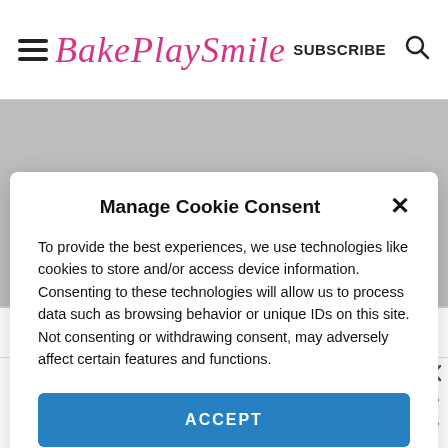BakePlaySmile  SUBSCRIBE  🔍
Manage Cookie Consent
To provide the best experiences, we use technologies like cookies to store and/or access device information. Consenting to these technologies will allow us to process data such as browsing behavior or unique IDs on this site. Not consenting or withdrawing consent, may adversely affect certain features and functions.
ACCEPT
Privacy Policy
and creamy.